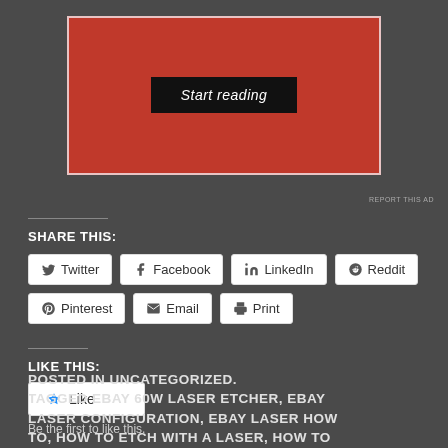[Figure (screenshot): Advertisement with red background and 'Start reading' button in black]
REPORT THIS AD
SHARE THIS:
Twitter  Facebook  LinkedIn  Reddit  Pinterest  Email  Print
LIKE THIS:
Like
Be the first to like this.
POSTED IN UNCATEGORIZED. TAGGED EBAY 60W LASER ETCHER, EBAY LASER CONFIGURATION, EBAY LASER HOW TO, HOW TO ETCH WITH A LASER, HOW TO